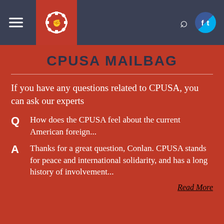[Figure (screenshot): Website navigation bar with hamburger menu, CPUSA gear logo on red background, search icon, and combined Facebook/Twitter social icon]
CPUSA MAILBAG
If you have any questions related to CPUSA, you can ask our experts
Q  How does the CPUSA feel about the current American foreign...
A  Thanks for a great question, Conlan. CPUSA stands for peace and international solidarity, and has a long history of involvement...
Read More